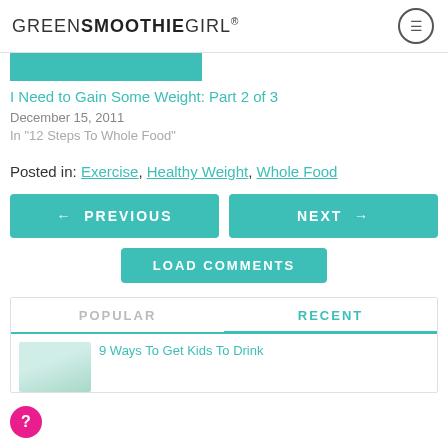GREENSMOOTHIEGIRL®
[Figure (illustration): Teal/green decorative bar at top of post card]
I Need to Gain Some Weight: Part 2 of 3
December 15, 2011
In "12 Steps To Whole Food"
Posted in: Exercise, Healthy Weight, Whole Food
← PREVIOUS
NEXT →
LOAD COMMENTS
POPULAR
RECENT
9 Ways To Get Kids To Drink